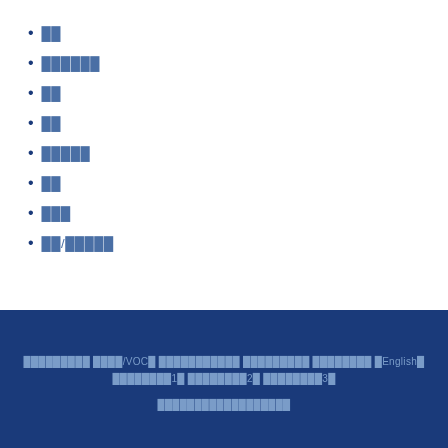██
██████
██
██
█████
██
███
██/█████
█████████ ████/VOC█ ███████████ █████████ ████████ █English█ ████████1█ ████████2█ ████████3█  ██████████████████